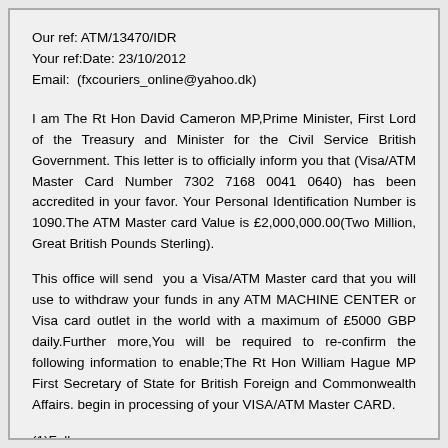Our ref: ATM/13470/IDR
Your ref:Date: 23/10/2012
Email:  (fxcouriers_online@yahoo.dk)
I am The Rt Hon David Cameron MP,Prime Minister, First Lord of the Treasury and Minister for the Civil Service British Government. This letter is to officially inform you that (Visa/ATM Master Card Number 7302 7168 0041 0640) has been accredited in your favor. Your Personal Identification Number is 1090.The ATM Master card Value is £2,000,000.00(Two Million, Great British Pounds Sterling).
This office will send  you a Visa/ATM Master card that you will use to withdraw your funds in any ATM MACHINE CENTER or Visa card outlet in the world with a maximum of £5000 GBP daily.Further more,You will be required to re-confirm the following information to enable;The Rt Hon William Hague MP First Secretary of State for British Foreign and Commonwealth Affairs. begin in processing of your VISA/ATM Master CARD.
(1)Full names:
(2)Address:
(3)Country:
(4)Nationality:
(5)Phone #: